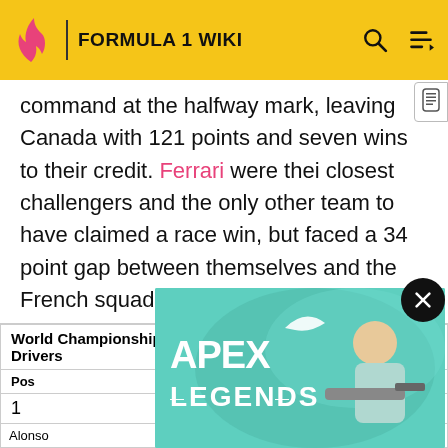FORMULA 1 WIKI
command at the halfway mark, leaving Canada with 121 points and seven wins to their credit. Ferrari were their closest challengers and the only other team to have claimed a race win, but faced a 34 point gap between themselves and the French squad. McLaren-Mercedes were likewise a distant third, well clear of fourth placed Honda, with BMW Sauber rounding out the mid-season top five.
| World Championship for Drivers | World Championship for Constructors |
| --- | --- |
| Pos | Pts |
| 1 | 12 |
| Alonso | Renault |
[Figure (advertisement): Apex Legends game advertisement showing a character with a rifle on a teal background]